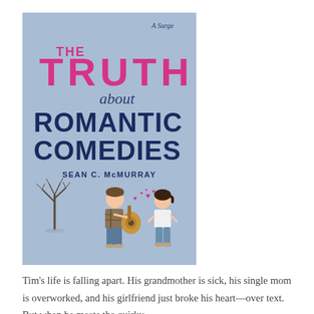[Figure (illustration): Book cover for 'The Truth About Romantic Comedies' by Sean C. McMurray. Light blue background. Top right corner has 'A Surge' in cursive. Large pink bold letters 'THE TRUTH' at top, 'about' in cursive below, then 'ROMANTIC COMEDIES' in large dark navy bold letters, then 'SEAN C. McMURRAY' in navy. Bottom portion shows a bare tree on the left and two cartoon figures: a boy playing guitar and a girl with pink hearts floating between them.]
Tim's life is falling apart. His grandmother is sick, his single mom is overworked, and his girlfriend just broke his heart—over text. But when he meets the quirky